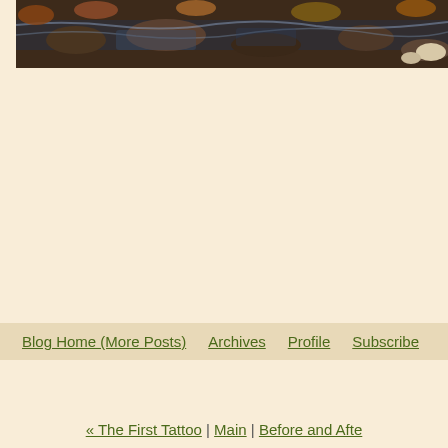[Figure (photo): Wide banner photograph of a rocky stream or creek bed with water, stones, and autumn-colored foliage visible]
Blog Home (More Posts) | Archives | Profile | Subscribe
« The First Tattoo | Main | Before and Afte